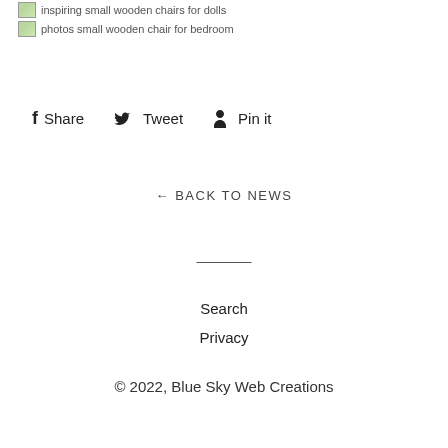[Figure (other): Broken image placeholder for 'inspiring small wooden chairs for dolls']
[Figure (other): Broken image placeholder for 'photos small wooden chair for bedroom']
f Share   🐦 Tweet   ♡ Pin it
← BACK TO NEWS
Search
Privacy
© 2022, Blue Sky Web Creations